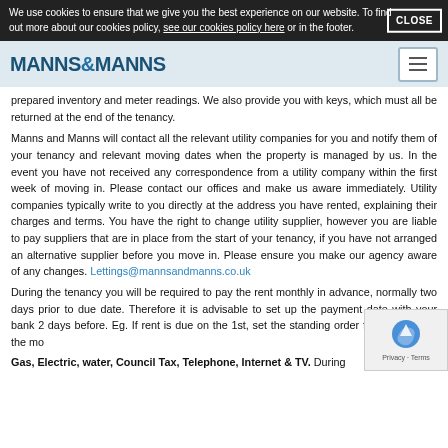We use cookies to ensure that we give you the best experience on our website. To find out more about our cookies policy, see our cookies policy here or in the footer. CLOSE
[Figure (logo): Manns & Manns logo with hamburger menu icon]
prepared inventory and meter readings. We also provide you with keys, which must all be returned at the end of the tenancy.
Manns and Manns will contact all the relevant utility companies for you and notify them of your tenancy and relevant moving dates when the property is managed by us. In the event you have not received any correspondence from a utility company within the first week of moving in. Please contact our offices and make us aware immediately. Utility companies typically write to you directly at the address you have rented, explaining their charges and terms. You have the right to change utility supplier, however you are liable to pay suppliers that are in place from the start of your tenancy, if you have not arranged an alternative supplier before you move in. Please ensure you make our agency aware of any changes. Lettings@mannsandmanns.co.uk
During the tenancy you will be required to pay the rent monthly in advance, normally two days prior to due date. Therefore it is advisable to set up the payment date with your bank 2 days before. Eg. If rent is due on the 1st, set the standing order for 29th/30th of the mo...
Gas, Electric, water, Council Tax, Telephone, Internet & TV. During...